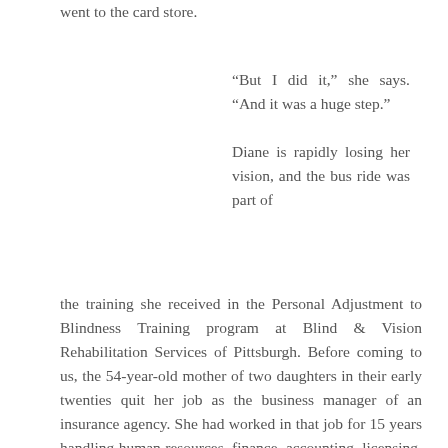went to the card store.
“But I did it,” she says. “And it was a huge step.”

Diane is rapidly losing her vision, and the bus ride was part of
the training she received in the Personal Adjustment to Blindness Training program at Blind & Vision Rehabilitation Services of Pittsburgh. Before coming to us, the 54-year-old mother of two daughters in their early twenties quit her job as the business manager of an insurance agency. She had worked in that job for 15 years handling human resources, finance, accounting, licensing, and even maintenance at